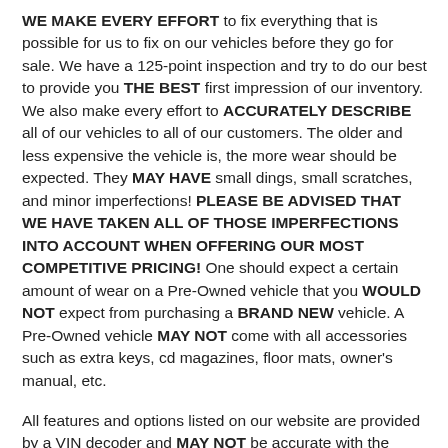WE MAKE EVERY EFFORT to fix everything that is possible for us to fix on our vehicles before they go for sale. We have a 125-point inspection and try to do our best to provide you THE BEST first impression of our inventory. We also make every effort to ACCURATELY DESCRIBE all of our vehicles to all of our customers. The older and less expensive the vehicle is, the more wear should be expected. They MAY HAVE small dings, small scratches, and minor imperfections! PLEASE BE ADVISED THAT WE HAVE TAKEN ALL OF THOSE IMPERFECTIONS INTO ACCOUNT WHEN OFFERING OUR MOST COMPETITIVE PRICING! One should expect a certain amount of wear on a Pre-Owned vehicle that you WOULD NOT expect from purchasing a BRAND NEW vehicle. A Pre-Owned vehicle MAY NOT come with all accessories such as extra keys, cd magazines, floor mats, owner's manual, etc.
All features and options listed on our website are provided by a VIN decoder and MAY NOT be accurate with the